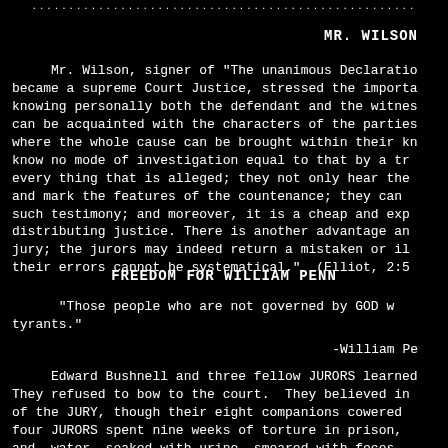...............................................
MR. WILSON
Mr. Wilson, signer of "The unanimous Declaration became a supreme Court Justice, stressed the importa knowing personally both the defendant and the witnes can be acquainted with the characters of the parties where the whole cause can be brought within their kn know no mode of investigation equal to that by a tr every thing that is alleged; they not only hear the and mark the features of the countenance; they can such testimony; and moreover, it is a cheap and exp distributing justice. There is another advantage an jury; the jurors may indeed return a mistaken or il their errors cannot be systematical." (Elliot, 2:5
FREEDOM FOR WILLIAM PENN
"Those people who are not governed by GOD wi tyrants."
-William Pe
Edward Bushnell and three fellow JURORS learned They refused to bow to the court.  They believed in of the JURY, though their eight companions cowered four JURORS spent nine weeks of torture in prison, and water, soaked with urine, smeared with feces, and eve threatened with fines, yet they would nt